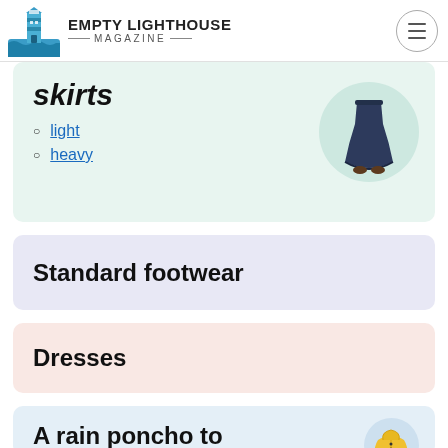EMPTY LIGHTHOUSE MAGAZINE
skirts
light
heavy
[Figure (photo): Dark navy blue long skirt displayed on a white/mint circular background]
Standard footwear
Dresses
A rain poncho to layer with a
[Figure (photo): Yellow rain jacket/poncho on a light blue circular background]